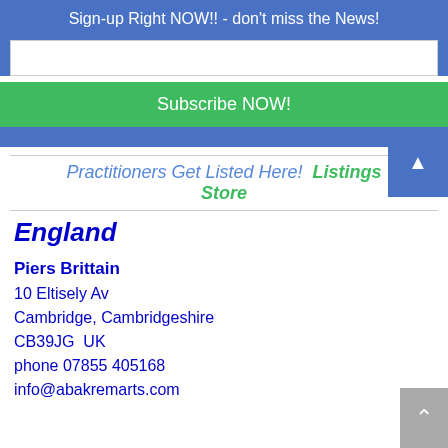Sign-up Right NOW!! - don't miss the News!
Subscribe NOW!
Practitioners Get Listed Here!  Listings Store
England
Piers Brittain
10 Eltisely Av
Cambridge, Cambridgeshire
CB39JG  UK
phone 07855 405168
info@abakremarts.com